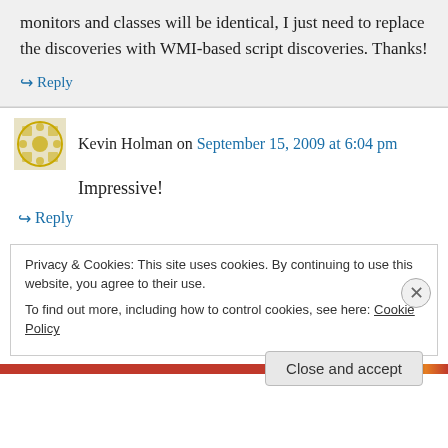monitors and classes will be identical, I just need to replace the discoveries with WMI-based script discoveries. Thanks!
↪ Reply
Kevin Holman on September 15, 2009 at 6:04 pm
Impressive!
↪ Reply
Privacy & Cookies: This site uses cookies. By continuing to use this website, you agree to their use.
To find out more, including how to control cookies, see here: Cookie Policy
Close and accept